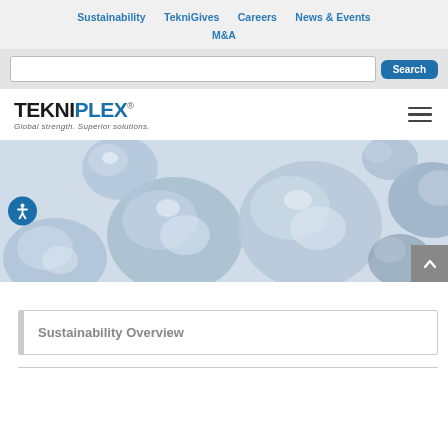Sustainability   TekniGives   Careers   News & Events   M&A
Search
[Figure (logo): TekniPlex logo with tagline 'Global strength. Superior solutions.']
[Figure (photo): Close-up photo of blue/grey plastic pellets or polymer beads on a white surface, serving as hero banner image]
Sustainability Overview